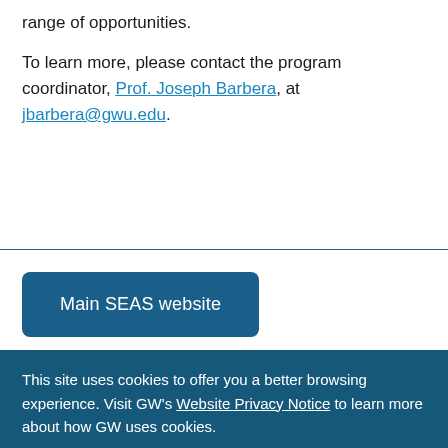range of opportunities.
To learn more, please contact the program coordinator, Prof. Joseph Barbera, at jbarbera@gwu.edu.
Main SEAS website
Department of Engineering
This site uses cookies to offer you a better browsing experience. Visit GW's Website Privacy Notice to learn more about how GW uses cookies.